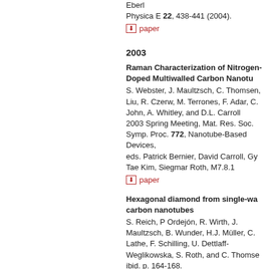Eberl
Physica E 22, 438-441 (2004).
paper
2003
Raman Characterization of Nitrogen-Doped Multiwalled Carbon Nanotubes
S. Webster, J. Maultzsch, C. Thomsen, Liu, R. Czerw, M. Terrones, F. Adar, C. John, A. Whitley, and D.L. Carroll
2003 Spring Meeting, Mat. Res. Soc. Symp. Proc. 772, Nanotube-Based Devices,
eds. Patrick Bernier, David Carroll, Gy Tae Kim, Siegmar Roth, M7.8.1
paper
Hexagonal diamond from single-walled carbon nanotubes
S. Reich, P Ordejón, R. Wirth, J. Maultzsch, B. Wunder, H.J. Müller, C. Lathe, F. Schilling, U. Dettlaff-Weglikowska, S. Roth, and C. Thomsen
ibid. p. 164-168.
Raman Measurements on Electrochemically Doped Single-Walled Carbon Nanotubes